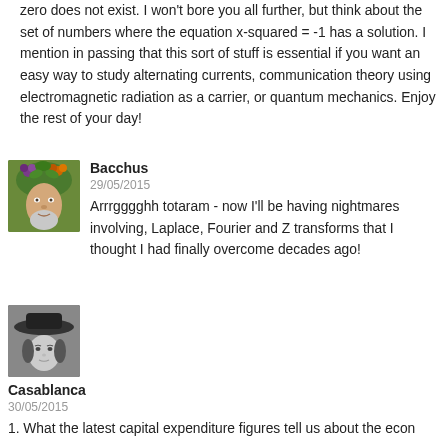zero does not exist. I won't bore you all further, but think about the set of numbers where the equation x-squared = -1 has a solution. I mention in passing that this sort of stuff is essential if you want an easy way to study alternating currents, communication theory using electromagnetic radiation as a carrier, or quantum mechanics. Enjoy the rest of your day!
[Figure (photo): Avatar image of Bacchus - a face with a crown of fruits and leaves]
Bacchus
29/05/2015
Arrrgggghh totaram - now I'll be having nightmares involving, Laplace, Fourier and Z transforms that I thought I had finally overcome decades ago!
[Figure (photo): Avatar image of Casablanca - black and white portrait of a woman wearing a hat]
Casablanca
30/05/2015
1. What the latest capital expenditure figures tell us about the econ